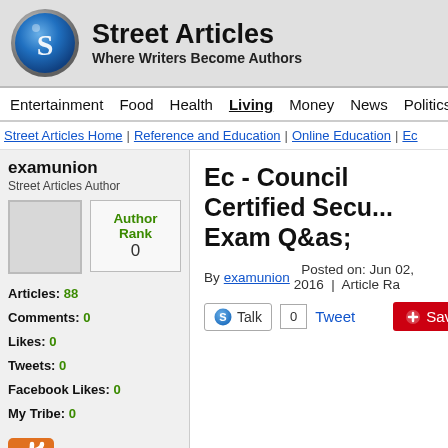Street Articles — Where Writers Become Authors
Entertainment  Food  Health  Living  Money  News  Politics  Spo
Street Articles Home | Reference and Education | Online Education | Ec
examunion
Street Articles Author
Author Rank
0
Articles: 88
Comments: 0
Likes: 0
Tweets: 0
Facebook Likes: 0
My Tribe: 0
Ec - Council Certified Secu... Exam Q&as;
By examunion  Posted on: Jun 02, 2016  Article Ra
Talk  0  Tweet  Save